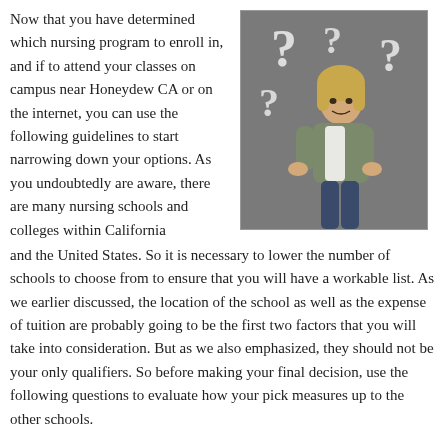Now that you have determined which nursing program to enroll in, and if to attend your classes on campus near Honeydew CA or on the internet, you can use the following guidelines to start narrowing down your options. As you undoubtedly are aware, there are many nursing schools and colleges within California and the United States. So it is necessary to lower the number of schools to choose from to ensure that you will have a workable list. As we earlier discussed, the location of the school as well as the expense of tuition are probably going to be the first two factors that you will take into consideration. But as we also emphasized, they should not be your only qualifiers. So before making your final decision, use the following questions to evaluate how your pick measures up to the other schools.
[Figure (photo): A woman standing with hands on hips, looking upward at floating question mark symbols, against a gray background.]